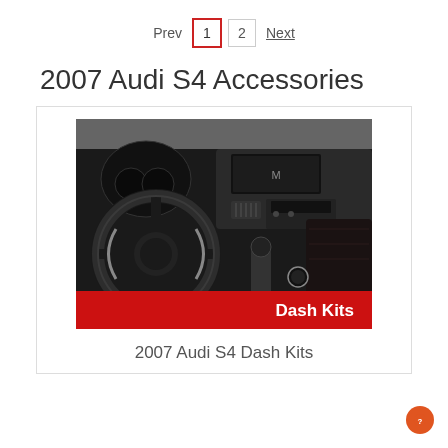Prev 1 2 Next
2007 Audi S4 Accessories
[Figure (photo): Car interior showing steering wheel and dashboard with a red banner overlay reading 'Dash Kits']
2007 Audi S4 Dash Kits